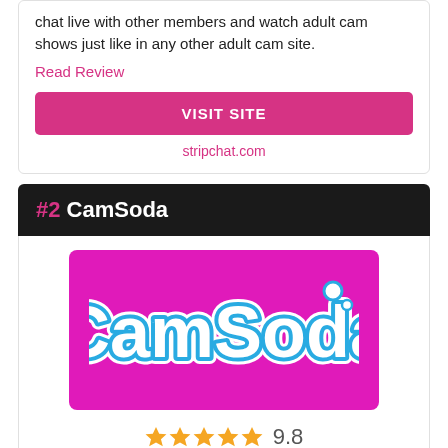chat live with other members and watch adult cam shows just like in any other adult cam site.
Read Review
VISIT SITE
stripchat.com
#2 CamSoda
[Figure (logo): CamSoda logo — white bubbly script text with blue outline on a pink/magenta background]
9.8